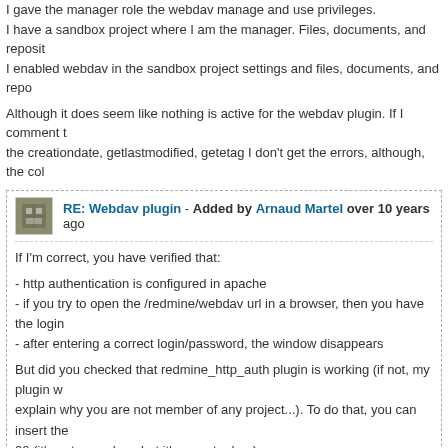I gave the manager role the webdav manage and use privileges.
I have a sandbox project where I am the manager. Files, documents, and reposit…
I enabled webdav in the sandbox project settings and files, documents, and repo…
Although it does seem like nothing is active for the webdav plugin. If I comment t… the creationdate, getlastmodified, getetag I don't get the errors, although, the col…
RE: Webdav plugin - Added by Arnaud Martel over 10 years ago
If I'm correct, you have verified that:
- http authentication is configured in apache
- if you try to open the /redmine/webdav url in a browser, then you have the login…
- after entering a correct login/password, the window disappears
But did you checked that redmine_http_auth plugin is working (if not, my plugin w… explain why you are not member of any project...). To do that, you can insert the … 90 (it's not very clean but it's easy to do...)
RAILS_DEFAULT_LOGGER.info "Current user: #{User.current}
then restart your redmine server and look into the production.log if you're correct…
RE: Webdav plugin - Added by Andy Wettstein over 10 years ago
Ok.
I keep getting this post rejected as spam, so we'll see if this works.
It was a problem with authentication. I was showing up as anonymous.
With fcgid and aliasing, apparently redirect remote user (should be all caps with …